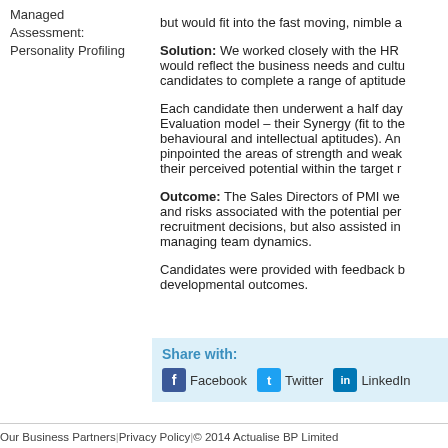Managed Assessment: Personality Profiling
Solution: We worked closely with the HR would reflect the business needs and culture candidates to complete a range of aptitude
Each candidate then underwent a half day Evaluation model – their Synergy (fit to the behavioural and intellectual aptitudes). An pinpointed the areas of strength and weakness their perceived potential within the target r
Outcome: The Sales Directors of PMI were and risks associated with the potential per recruitment decisions, but also assisted in managing team dynamics.
Candidates were provided with feedback b developmental outcomes.
Share with: Facebook Twitter LinkedIn
Our Business Partners | Privacy Policy | © 2014 Actualise BP Limited